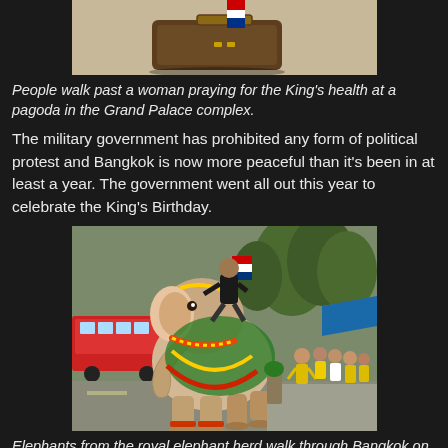[Figure (photo): Partial view of a photo showing items on the ground near the Grand Palace, with a Thai flag visible on luggage]
People walk past a woman praying for the King's health at a pagoda in the Grand Palace complex.
The military government has prohibited any form of political protest and Bangkok is now more peaceful than it's been in at least a year. The government went all out this year to celebrate the King's Birthday.
[Figure (photo): A decorated elephant with colorful garlands and a rider walks down a street in Bangkok, accompanied by people in yellow shirts. A red bus is visible in the background with trees lining the street.]
Elephants from the royal elephant herd walk through Bangkok on their way to Sanam Luang.